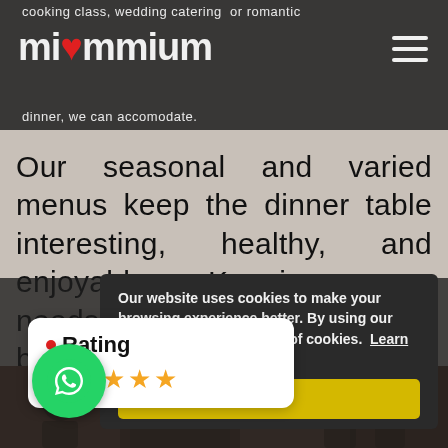cooking class, wedding catering or romantic dinner, we can accomodate.
[Figure (logo): miummium logo with red dot accent and hamburger menu icon]
Our seasonal and varied menus keep the dinner table interesting, healthy, and enjoyable. Keeping your needs in mind, our chefs can be hired to cook for one day, weekly, or as often as needed.
Our website uses cookies to make your browsing experience better. By using our site [you agree to our u]se of cookies. Learn more
[Figure (other): Yellow Yes button for cookie consent]
[Figure (other): Rating card with 5 gold stars and WhatsApp circle icon]